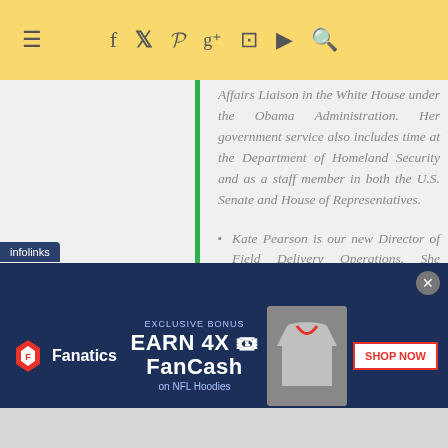Navigation bar with hamburger menu and social icons (Facebook, Twitter, Pinterest, Google+, Instagram, YouTube, Search)
Affairs Liaison in the White House under the Obama Administration. Her government service also includes time at the Department of Homeland Security and as a staff member in both the U.S. Senate and House of Representatives.
Kate Pearson is our new Director of Field Delivery Operations. She previously
[Figure (infographic): Fanatics advertisement banner: EXCLUSIVE BONUS - EARN 4X FanCash on NFL Hoodies, with SHOP NOW button and hoodie image]